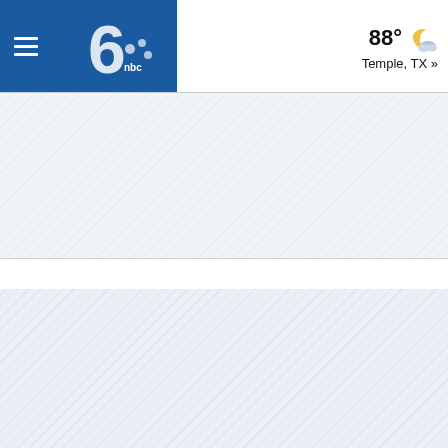KCENTV NBC 6 navigation header with hamburger menu, logo, weather 88° Temple, TX »
[Figure (screenshot): Hatched/striped ad banner placeholder region (top)]
[Figure (screenshot): Hatched/striped ad banner placeholder region (bottom)]